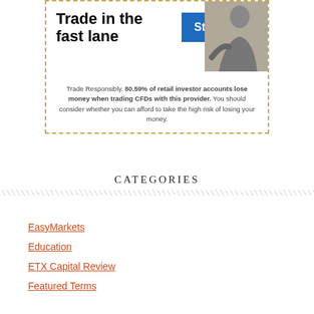[Figure (other): Advertisement banner with gold dashed border. Shows 'Trade in the fast lane' headline, a 'Start now' blue button, a greyscale photo of a person, and a disclaimer about 80.59% of retail investor accounts losing money trading CFDs.]
Trade Responsibly. 80.59% of retail investor accounts lose money when trading CFDs with this provider. You should consider whether you can afford to take the high risk of losing your money.
CATEGORIES
EasyMarkets
Education
ETX Capital Review
Featured Terms
Forex brokers
Forex Exness
Freshforex Review